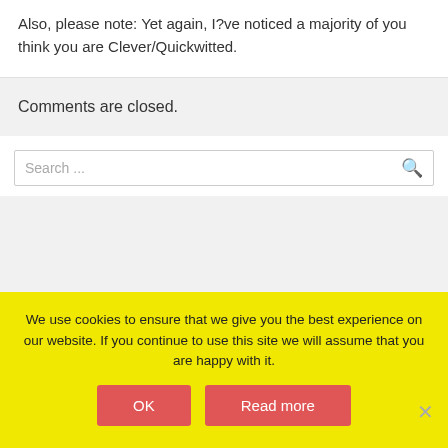Also, please note: Yet again, I?ve noticed a majority of you think you are Clever/Quickwitted.
Comments are closed.
Search ...
We use cookies to ensure that we give you the best experience on our website. If you continue to use this site we will assume that you are happy with it.